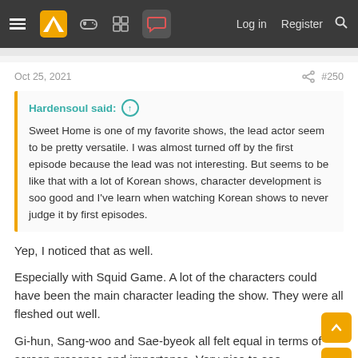Navigation bar with menu, logo, icons, Log in, Register, Search
Oct 25, 2021   #250
Hardensoul said: ↑
Sweet Home is one of my favorite shows, the lead actor seem to be pretty versatile. I was almost turned off by the first episode because the lead was not interesting. But seems to be like that with a lot of Korean shows, character development is soo good and I've learn when watching Korean shows to never judge it by first episodes.
Yep, I noticed that as well.
Especially with Squid Game. A lot of the characters could have been the main character leading the show. They were all fleshed out well.
Gi-hun, Sang-woo and Sae-byeok all felt equal in terms of screen presence and importance. Very nice to see.